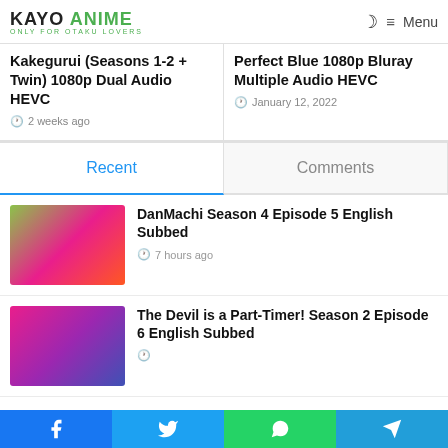KAYO ANIME — Only for Otaku Lovers
Kakegurui (Seasons 1-2 + Twin) 1080p Dual Audio HEVC
2 weeks ago
Perfect Blue 1080p Bluray Multiple Audio HEVC
January 12, 2022
Recent
Comments
DanMachi Season 4 Episode 5 English Subbed
7 hours ago
The Devil is a Part-Timer! Season 2 Episode 6 English Subbed
6 h...